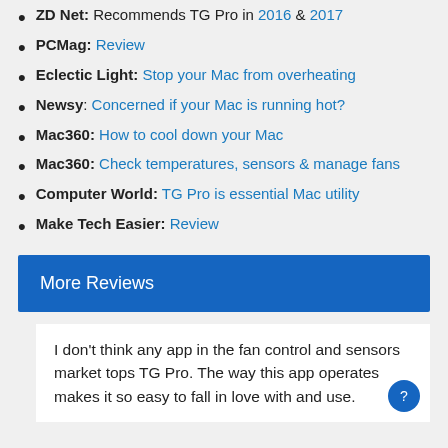ZD Net: Recommends TG Pro in 2016 & 2017
PCMag: Review
Eclectic Light: Stop your Mac from overheating
Newsy: Concerned if your Mac is running hot?
Mac360: How to cool down your Mac
Mac360: Check temperatures, sensors & manage fans
Computer World: TG Pro is essential Mac utility
Make Tech Easier: Review
More Reviews
I don't think any app in the fan control and sensors market tops TG Pro. The way this app operates makes it so easy to fall in love with and use.